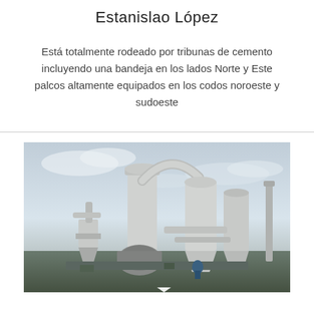Estanislao López
Está totalmente rodeado por tribunas de cemento incluyendo una bandeja en los lados Norte y Este palcos altamente equipados en los codos noroeste y sudoeste
[Figure (photo): Industrial machinery with white cylindrical silos, pipes and industrial equipment photographed outdoors against a cloudy sky]